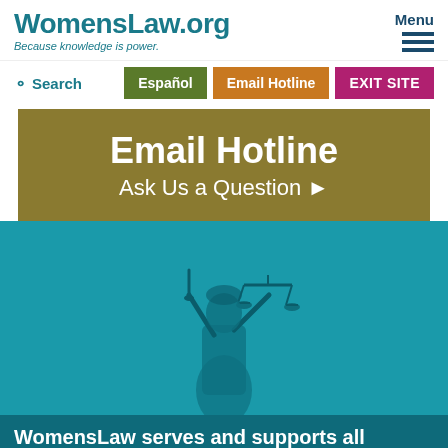WomensLaw.org — Because knowledge is power.
Menu
Search | Español | Email Hotline | EXIT SITE
Email Hotline — Ask Us a Question
[Figure (photo): Statue of Lady Justice holding scales, tinted teal/cyan]
WomensLaw serves and supports all survivors, no matter their sex or gender.